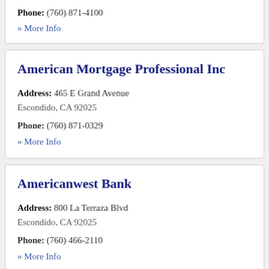Phone: (760) 871-4100
» More Info
American Mortgage Professional Inc
Address: 465 E Grand Avenue
Escondido, CA 92025
Phone: (760) 871-0329
» More Info
Americanwest Bank
Address: 800 La Terraza Blvd
Escondido, CA 92025
Phone: (760) 466-2110
» More Info